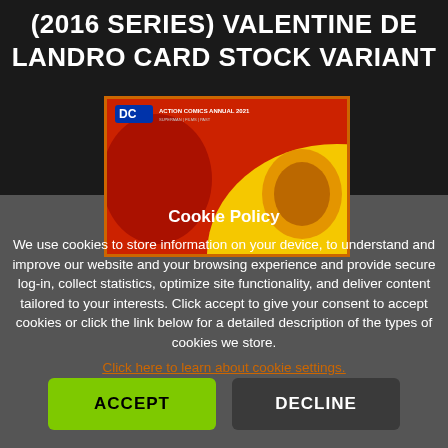(2016 SERIES) VALENTINE DE LANDRO CARD STOCK VARIANT
[Figure (photo): DC Action Comics Annual 2021 comic book cover with red and yellow background]
Cookie Policy
We use cookies to store information on your device, to understand and improve our website and your browsing experience and provide secure log-in, collect statistics, optimize site functionality, and deliver content tailored to your interests. Click accept to give your consent to accept cookies or click the link below for a detailed description of the types of cookies we store.
Click here to learn about cookie settings.
ACCEPT
DECLINE